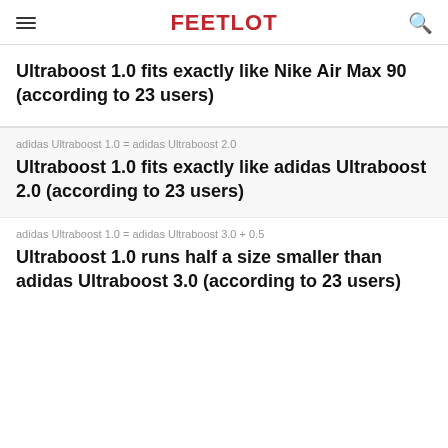FEETLOT
Ultraboost 1.0 fits exactly like Nike Air Max 90 (according to 23 users)
adidas Ultraboost 1.0 = adidas Ultraboost 2.0
Ultraboost 1.0 fits exactly like adidas Ultraboost 2.0 (according to 23 users)
adidas Ultraboost 1.0 = adidas Ultraboost 3.0 + 0.5
Ultraboost 1.0 runs half a size smaller than adidas Ultraboost 3.0 (according to 23 users)